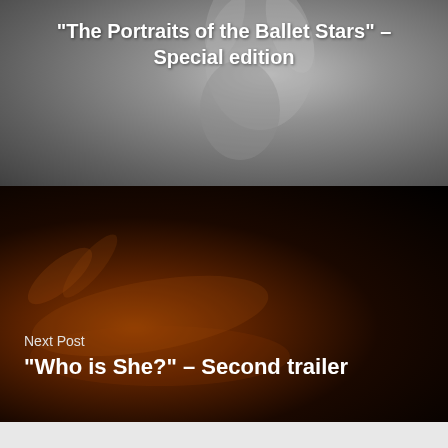[Figure (photo): Black and white photo of a male ballet dancer with arms raised overhead, showing torso and arms against a grey background]
"The Portraits of the Ballet Stars" – Special edition
[Figure (photo): Dark, dramatic photo of a female dancer lying on a reflective floor in a contorted pose, lit with warm amber/orange tones from below]
Next Post
"Who is She?" – Second trailer